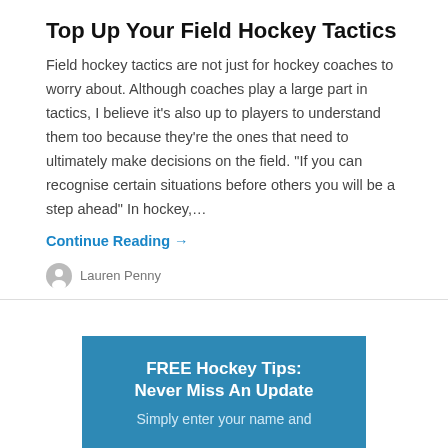Top Up Your Field Hockey Tactics
Field hockey tactics are not just for hockey coaches to worry about. Although coaches play a large part in tactics, I believe it’s also up to players to understand them too because they’re the ones that need to ultimately make decisions on the field. “If you can recognise certain situations before others you will be a step ahead”  In hockey,…
Continue Reading →
Lauren Penny
FREE Hockey Tips: Never Miss An Update
Simply enter your name and